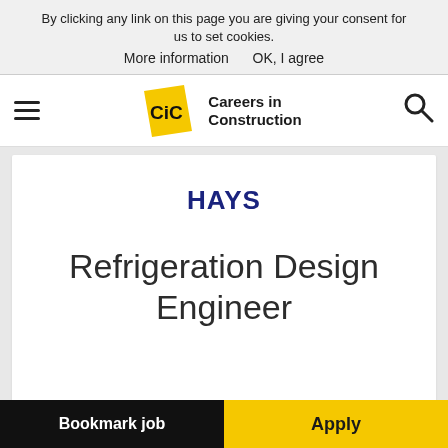By clicking any link on this page you are giving your consent for us to set cookies. More information   OK, I agree
[Figure (logo): Careers in Construction (CiC) logo with yellow book icon and bold text]
HAYS
Refrigeration Design Engineer
Bookmark job   Apply